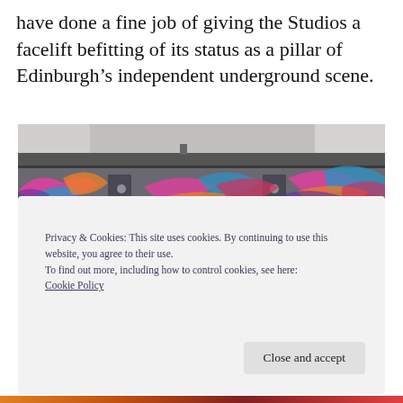have done a fine job of giving the Studios a facelift befitting of its status as a pillar of Edinburgh’s independent underground scene.
[Figure (photo): Exterior of a low building with colorful graffiti murals covering the walls. The roof is dark grey, and the sky above is light grey.]
Privacy & Cookies: This site uses cookies. By continuing to use this website, you agree to their use.
To find out more, including how to control cookies, see here:
Cookie Policy
Close and accept